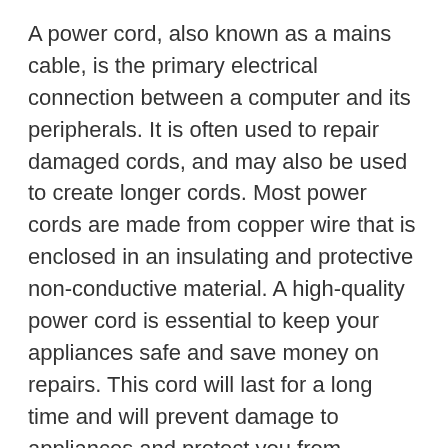A power cord, also known as a mains cable, is the primary electrical connection between a computer and its peripherals. It is often used to repair damaged cords, and may also be used to create longer cords. Most power cords are made from copper wire that is enclosed in an insulating and protective non-conductive material. A high-quality power cord is essential to keep your appliances safe and save money on repairs. This cord will last for a long time and will prevent damage to appliances and protect you from electrical hazards.
Power cords are available in many different sizes, colors, and lengths. A computer cord is usually C6. Its plug should match the receptacle on the computer. Laptop power cords are often C6. If you have an AC outlet that is C6, then the cord should match it. Likewise, a computer monitor cord should match the